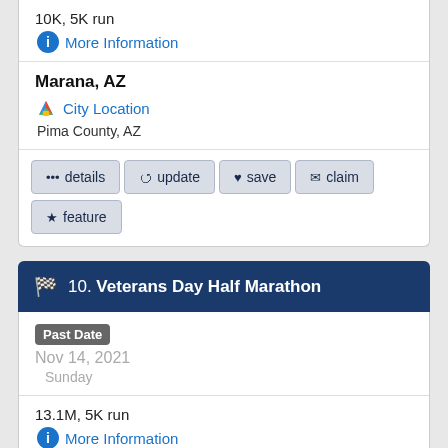10K, 5K run
More Information
Marana, AZ
City Location
Pima County, AZ
details
update
save
claim
feature
10. Veterans Day Half Marathon
Past Date
Nov 14, 2021
Sunday
13.1M, 5K run
More Information